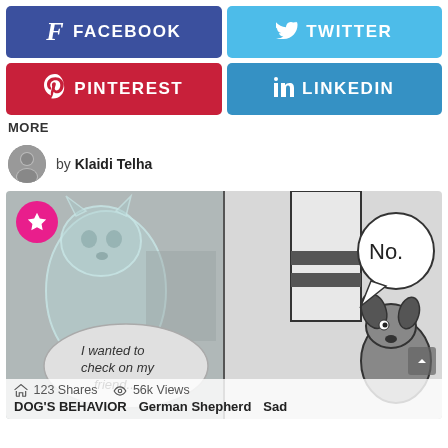[Figure (other): Social media share buttons: Facebook (blue-purple), Twitter (cyan), Pinterest (red), LinkedIn (blue)]
MORE
by Klaidi Telha
[Figure (illustration): Comic strip showing a ghost dog saying 'I wanted to check on my friend...' on the left panel and a live dog saying 'No.' on the right panel. Has a pink star badge, shows 123 Shares and 56k Views, tagged DOG'S BEHAVIOR, German Shepherd, Sad]